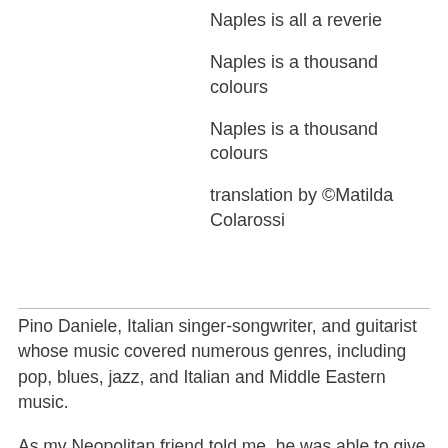Naples is all a reverie
Naples is a thousand colours
Naples is a thousand colours
translation by ©Matilda Colarossi
Pino Daniele, Italian singer-songwriter, and guitarist whose music covered numerous genres, including pop, blues, jazz, and Italian and Middle Eastern music.
As my Neopolitan friend told me, he was able to give